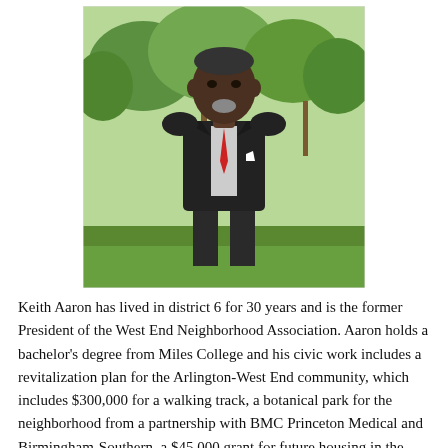[Figure (photo): Portrait photo of Keith Aaron, a man in a dark suit with a red tie, standing outdoors with green trees in the background.]
Keith Aaron has lived in district 6 for 30 years and is the former President of the West End Neighborhood Association. Aaron holds a bachelor's degree from Miles College and his civic work includes a revitalization plan for the Arlington-West End community, which includes $300,000 for a walking track, a botanical park for the neighborhood from a partnership with BMC Princeton Medical and Birmingham-Southern, a $45,000 grant for future housing in the neighborhood and a partnership with Urban Ministries that enabled 50 residents to have their homes renovated for free. Aaron received...